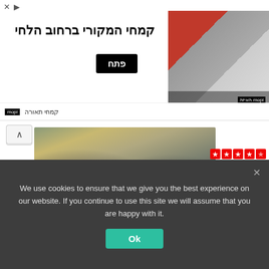[Figure (screenshot): Hebrew advertisement banner with title 'קמחי המקורי ברחוב הלחי', a black 'פתח' button, and a decorative image on the right side with logo]
[Figure (photo): Group photo of law firm staff in formal attire, posed outdoors]
P
331 reviews
In
Law Offices of Nader A Nader
[Figure (photo): Portrait photo of a man, partially visible]
T
We use cookies to ensure that we give you the best experience on our website. If you continue to use this site we will assume that you are happy with it.
Ok